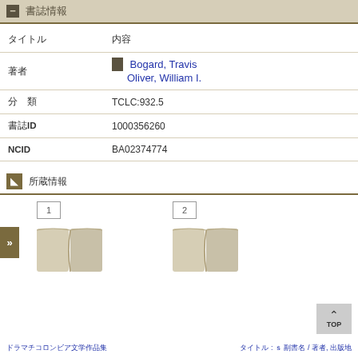書誌情報
| フィールド | 内容 |
| --- | --- |
| タイトル | 　 |
| 著者 | Bogard, Travis
Oliver, William I. |
| 分　類 | TCLC:932.5 |
| 書誌ID | 1000356260 |
| NCID | BA02374774 |
所蔵情報
[Figure (illustration): Two open book icons with page numbers 1 and 2]
ドラマチコロンビア文学作品集　タイトル / 著者, 出版社